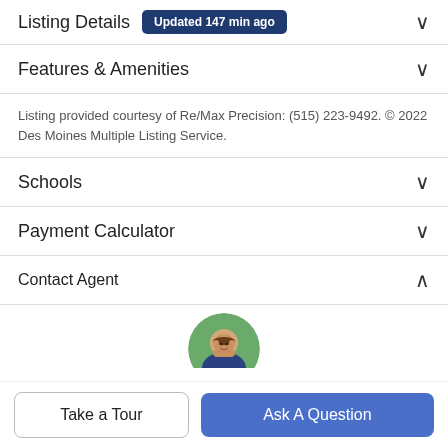Listing Details Updated 147 min ago
Features & Amenities
Listing provided courtesy of Re/Max Precision: (515) 223-9492. © 2022 Des Moines Multiple Listing Service.
Schools
Payment Calculator
Contact Agent
[Figure (photo): Circular headshot photo of a real estate agent, smiling man in suit, outdoors background]
Take a Tour
Ask A Question